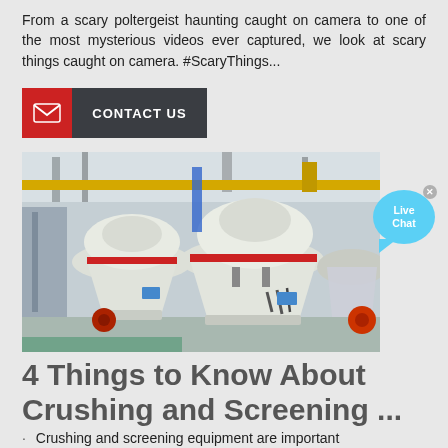From a scary poltergeist haunting caught on camera to one of the most mysterious videos ever captured, we look at scary things caught on camera. #ScaryThings...
[Figure (other): Red and dark gray Contact Us button with email icon on the left]
[Figure (photo): Industrial crushing and screening machinery in a factory setting, showing large cone crushers in white and red, on a factory floor]
[Figure (other): Live Chat bubble widget, blue circular speech bubble with 'Live Chat' text and a close X button]
4 Things to Know About Crushing and Screening ...
Crushing and screening equipment are important